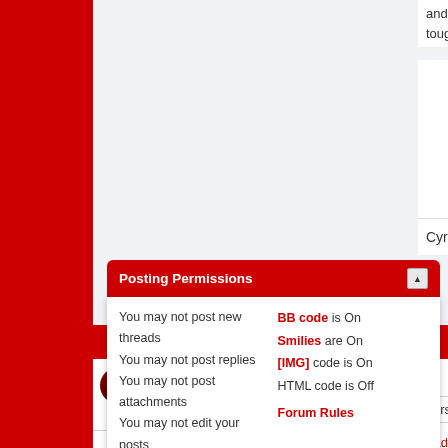and racially abused another. Tough shit.
Cyril The Judas
+ Reply to Thread
Page 32 of 40  First  ... 22
« Previous Thread | Next Thread
Posting Permissions
You may not post new threads
You may not post replies
You may not post attachments
You may not edit your posts
BB code is On
Smilies are On
[IMG] code is On
HTML code is Off
Forum Rules